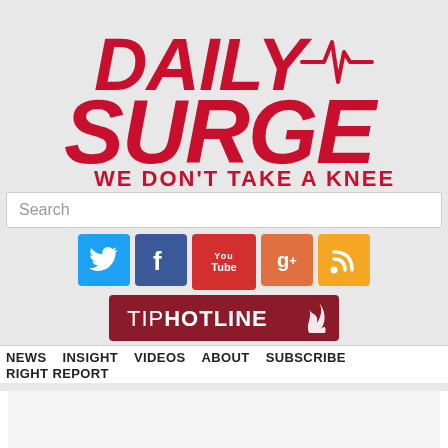[Figure (logo): Daily Surge logo with red bold text 'DAILY SURGE' and tagline 'WE DON'T TAKE A KNEE', with an EKG pulse line graphic]
Search
[Figure (infographic): Social media icons row: Twitter (blue bird), Facebook (blue f), YouTube (red You Tube), Google+ (orange g+), RSS (orange feed icon)]
[Figure (infographic): TIP HOTLINE button in dark red/crimson with flame icon]
NEWS  INSIGHT  VIDEOS  ABOUT  SUBSCRIBE  RIGHT REPORT
dental care alliance General Dentist Jobs in Ashburn Apply Now
jobble.com